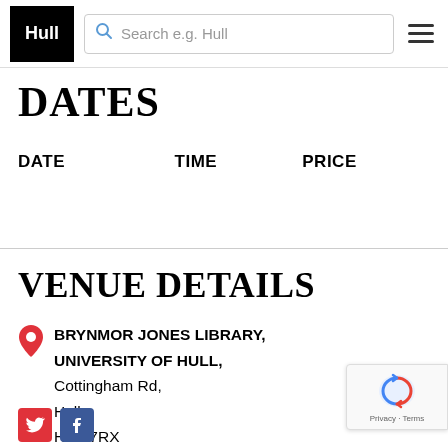Visit Hull — Search e.g. Hull (navigation bar with logo and hamburger menu)
DATES
| DATE | TIME | PRICE |
| --- | --- | --- |
VENUE DETAILS
BRYNMOR JONES LIBRARY, UNIVERSITY OF HULL, Cottingham Rd, Hull, HU6 7RX